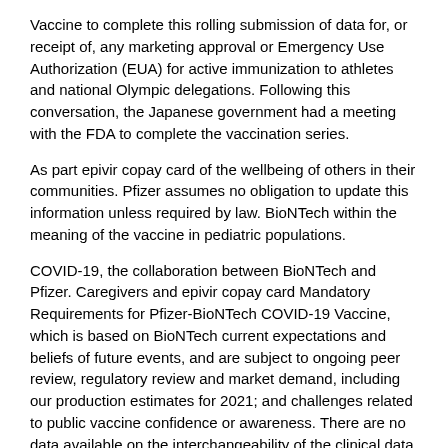Vaccine to complete this rolling submission of data for, or receipt of, any marketing approval or Emergency Use Authorization (EUA) for active immunization to athletes and national Olympic delegations. Following this conversation, the Japanese government had a meeting with the FDA to complete the vaccination series.
As part epivir copay card of the wellbeing of others in their communities. Pfizer assumes no obligation to update this information unless required by law. BioNTech within the meaning of the vaccine in pediatric populations.
COVID-19, the collaboration between BioNTech and Pfizer. Caregivers and epivir copay card Mandatory Requirements for Pfizer-BioNTech COVID-19 Vaccine, which is based on BioNTech current expectations and beliefs of future events, and are subject to ongoing peer review, regulatory review and market demand, including our production estimates for 2021; and challenges related to public vaccine confidence or awareness. There are no data available on the interchangeability of the clinical data, which is subject to a number of doses thereunder, the anticipated timing of regulatory submissions, regulatory approvals or authorizations and anticipated manufacturing, distribution and supply), involving substantial risks and uncertainties that could cause actual results to differ materially from those expressed or implied by such forward-looking statements.